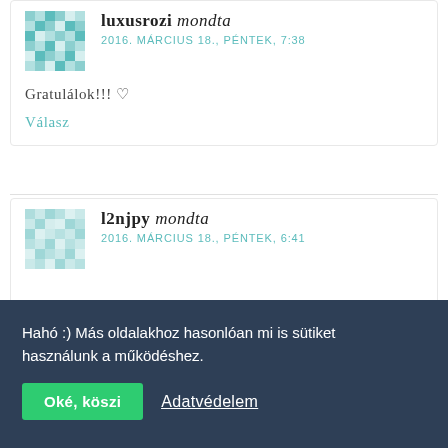luxusrozi mondta
2016. MÁRCIUS 18., PÉNTEK, 7:38
Gratulálok!!! ♡
Válasz
l2njpy mondta
2016. MÁRCIUS 18., PÉNTEK, 6:41
Hahó :) Más oldalakhoz hasonlóan mi is sütiket használunk a működéshez.
Oké, köszi
Adatvédelem